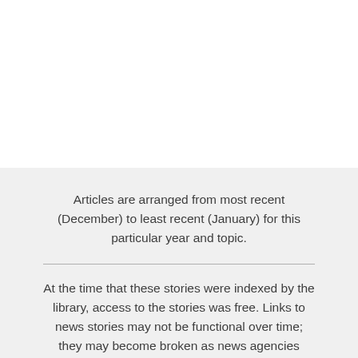Articles are arranged from most recent (December) to least recent (January) for this particular year and topic.
At the time that these stories were indexed by the library, access to the stories was free. Links to news stories may not be functional over time; they may become broken as news agencies